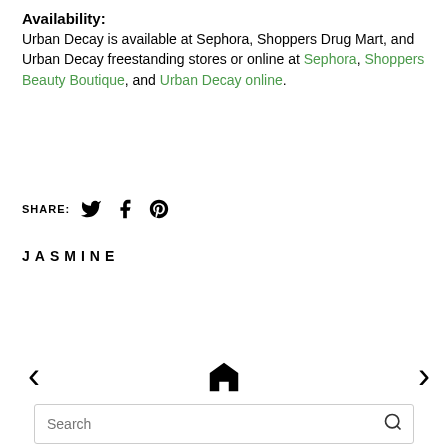Availability:
Urban Decay is available at Sephora, Shoppers Drug Mart, and Urban Decay freestanding stores or online at Sephora, Shoppers Beauty Boutique, and Urban Decay online.
SHARE: [Twitter icon] [Facebook icon] [Pinterest icon]
JASMINE
< [home icon] VIEW WEB VERSION >
Search